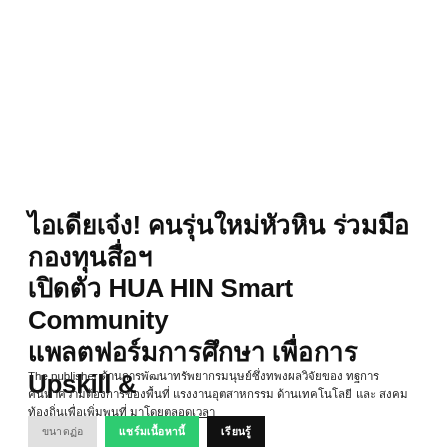ไอเดียเจ๋ง! คนรุ่นใหม่หัวหิน ร่วมมือ กองทุนสื่อฯ เปิดตัว HUA HIN Smart Community แพลตฟอร์มการศึกษา เพื่อการ Upskill &
The publisher [Thai text] [Thai text] [Thai text] [Thai text] [Thai text] [Thai text] [Thai underlined text]